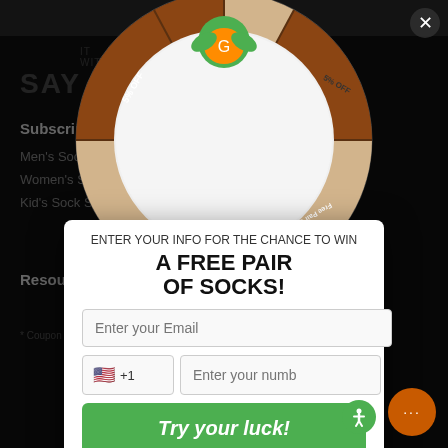[Figure (screenshot): Website background with dark theme showing navigation links for Subscriptions (Men's Sock Subscription, Women's Sock Subscription, Kid's Sock Subscription), Account (Login, Contact, Cancel Subscription), Resources, Company, Gift Certificates sections]
[Figure (illustration): Spin-to-win wheel popup with segments showing '5% OFF', 'Free Pair of Socks' sections in brown and beige, with a cartoon character logo at top]
ENTER YOUR INFO FOR THE CHANCE TO WIN
A FREE PAIR OF SOCKS!
Enter your Email
+1  Enter your numb
Try your luck!
* Coupon is valid with your 1st order over $10